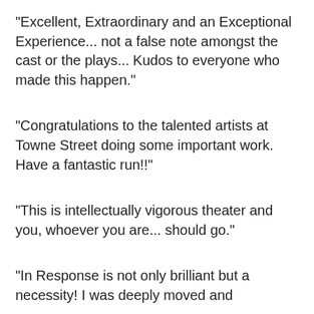"Excellent, Extraordinary and an Exceptional Experience... not a false note amongst the cast or the plays... Kudos to everyone who made this happen."
"Congratulations to the talented artists at Towne Street doing some important work. Have a fantastic run!!"
"This is intellectually vigorous theater and you, whoever you are... should go."
"In Response is not only brilliant but a necessity! I was deeply moved and